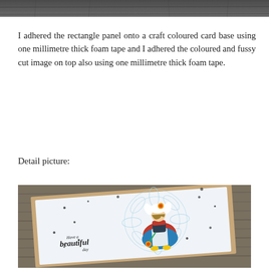[Figure (photo): Partial view of a wood grain background photo at the top of the page]
I adhered the rectangle panel onto a craft coloured card base using one millimetre thick foam tape and I adhered the coloured and fussy cut image on top also using one millimetre thick foam tape.
Detail picture:
[Figure (photo): Close-up photo of a handmade greeting card featuring a Dutch girl character holding flowers, wearing traditional Dutch costume and hat, with a light blue mandala background pattern and black ink splatters, with the sentiment 'Have a beautiful day' in script on the left side. The card is placed on a wooden surface.]